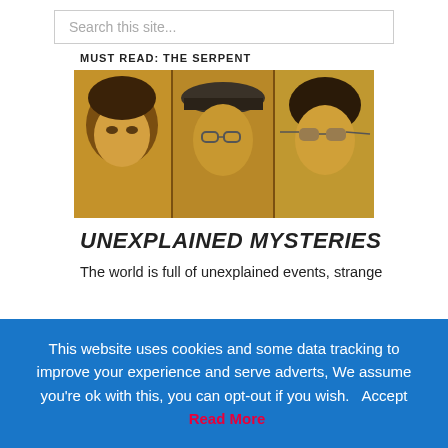Search this site...
MUST READ: THE SERPENT
[Figure (photo): Sepia-toned photograph showing three individuals side by side — a young person on the left with dark hair, a middle-aged person in the center wearing a hat and glasses, and a third person on the right wearing large sunglasses.]
UNEXPLAINED MYSTERIES
The world is full of unexplained events, strange
This website uses cookies and some data tracking to improve your experience and serve adverts, We assume you're ok with this, you can opt-out if you wish.  Accept  Read More